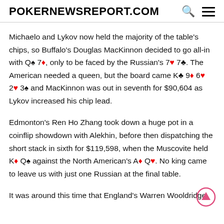POKERNEWSREPORT.COM
Michaelo and Lykov now held the majority of the table's chips, so Buffalo's Douglas MacKinnon decided to go all-in with Q♠ 7♦, only to be faced by the Russian's 7♥ 7♣. The American needed a queen, but the board came K♣ 9♦ 6♥ 2♥ 3♠ and MacKinnon was out in seventh for $90,604 as Lykov increased his chip lead.
Edmonton's Ren Ho Zhang took down a huge pot in a coinflip showdown with Alekhin, before then dispatching the short stack in sixth for $119,598, when the Muscovite held K♦ Q♠ against the North American's A♦ Q♥. No king came to leave us with just one Russian at the final table.
It was around this time that England's Warren Wooldridge